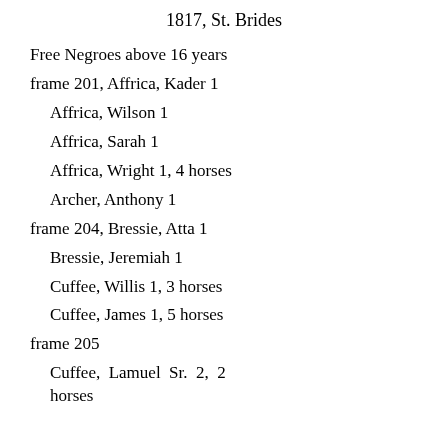1817, St. Brides
Free Negroes above 16 years
frame 201, Affrica, Kader 1
Affrica, Wilson 1
Affrica, Sarah 1
Affrica, Wright 1, 4 horses
Archer, Anthony 1
frame 204, Bressie, Atta 1
Bressie, Jeremiah 1
Cuffee, Willis 1, 3 horses
Cuffee, James 1, 5 horses
frame 205
Cuffee, Lamuel Sr. 2, 2 horses